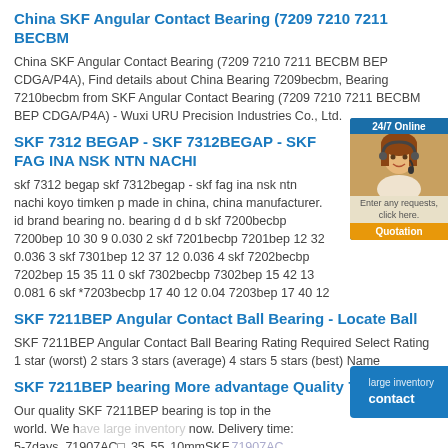China SKF Angular Contact Bearing (7209 7210 7211 BECBM
China SKF Angular Contact Bearing (7209 7210 7211 BECBM BEP CDGA/P4A), Find details about China Bearing 7209becbm, Bearing 7210becbm from SKF Angular Contact Bearing (7209 7210 7211 BECBM BEP CDGA/P4A) - Wuxi URU Precision Industries Co., Ltd.
SKF 7312 BEGAP - SKF 7312BEGAP - SKF FAG INA NSK NTN NACHI
skf 7312 begap skf 7312begap - skf fag ina nsk ntn nachi koyo timken p made in china, china manufacturer. id brand bearing no. bearing d d b skf 7200becbp 7200bep 10 30 9 0.030 2 skf 7201becbp 7201bep 12 32 0.036 3 skf 7301bep 12 37 12 0.036 4 skf 7202becbp 7202bep 15 35 11 0 skf 7302becbp 7302bep 15 42 13 0.081 6 skf *7203becbp 17 40 12 0.04 7203bep 17 40 12
SKF 7211BEP Angular Contact Ball Bearing - Locate Ball
SKF 7211BEP Angular Contact Ball Bearing Rating Required Select Rating 1 star (worst) 2 stars 3 stars (average) 4 stars 5 stars (best) Name
SKF 7211BEP bearing More advantage Quality 7211BEP
Our quality SKF 7211BEP bearing is top in the world. We have large inventory now. Delivery time: 5-7days. 71907AC□o35o55o10mmSKF,71907AC 7211BEP KOYO 696 FAGNU408 NUP3226009RS SKF 7214BEP SKF. ... quality Supply
[Figure (other): 24/7 Online chat widget with a woman customer service representative image, 'Enter any requests, click here.' text and Quotation button]
[Figure (other): Contact button overlay in blue with 'large inventory' text visible behind it]